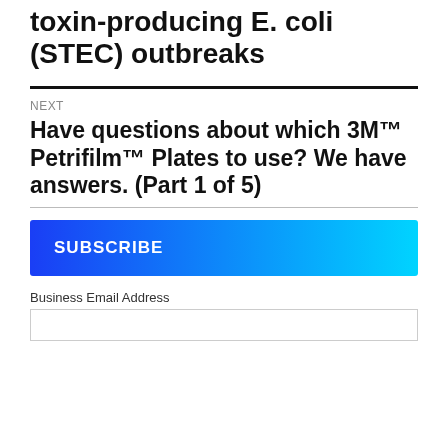toxin-producing E. coli (STEC) outbreaks
NEXT
Have questions about which 3M™ Petrifilm™ Plates to use? We have answers. (Part 1 of 5)
[Figure (other): SUBSCRIBE gradient banner button (blue to cyan)]
Business Email Address